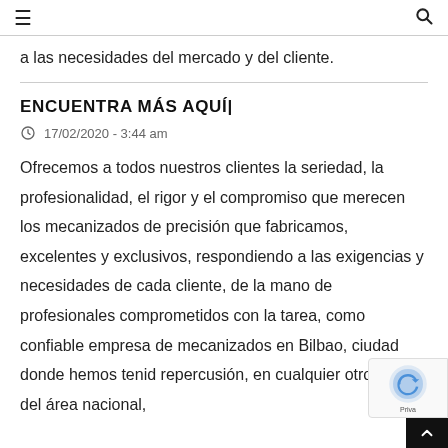≡  🔍
a las necesidades del mercado y del cliente.
ENCUENTRA MÁS AQUÍ|
17/02/2020 - 3:44 am
Ofrecemos a todos nuestros clientes la seriedad, la profesionalidad, el rigor y el compromiso que merecen los mecanizados de precisión que fabricamos, excelentes y exclusivos, respondiendo a las exigencias y necesidades de cada cliente, de la mano de profesionales comprometidos con la tarea, como confiable empresa de mecanizados en Bilbao, ciudad donde hemos tenid repercusión, en cualquier otro punto del área nacional,